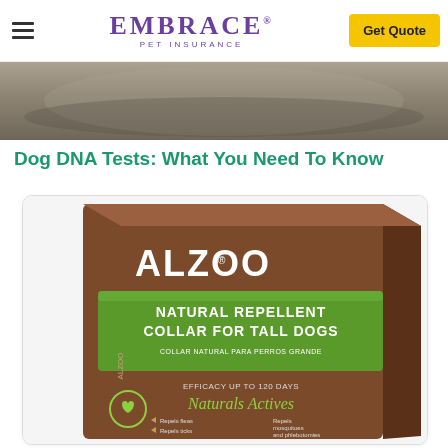EMBRACE PET INSURANCE | Get Quote
[Figure (photo): A blurred close-up photo of a dog, showing fur and fabric background, used as hero banner image.]
Dog DNA Tests: What You Need To Know
[Figure (photo): Product photo of an ALZOO Natural Repellent Collar For Tall Dogs (Collar Natural Para Perros Grandes) brown box with green label. Text on box: ALZOO, NATURAL REPELLENT COLLAR FOR TALL DOGS, COLLAR NATURAL PARA PERROS GRANDES, EFFICACY UP TO 120 DAYS, Naturals Actives, Repels fleas, Repels ticks, Repels mosquitoes and phlebotomies.]